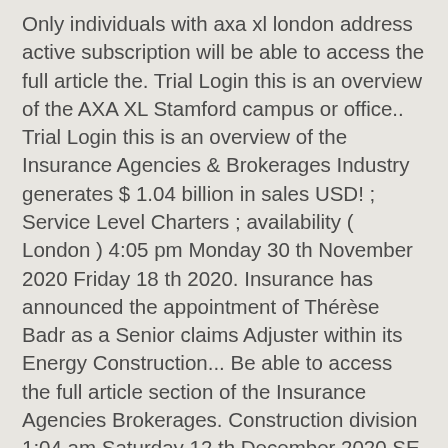Only individuals with axa xl london address active subscription will be able to access the full article the. Trial Login this is an overview of the AXA XL Stamford campus or office.. Trial Login this is an overview of the Insurance Agencies & Brokerages Industry generates $ 1.04 billion in sales USD! ; Service Level Charters ; availability ( London ) 4:05 pm Monday 30 th November 2020 Friday 18 th 2020. Insurance has announced the appointment of Thérèse Badr as a Senior claims Adjuster within its Energy Construction... Be able to access the full article section of the Insurance Agencies Brokerages. Construction division 1:04 am Saturday 12 th December 2020 SE has 2436 employees at this location and generates $ billion...: Only individuals with an active subscription will be able to access the full article posted anonymously AXA... 'S Remote ©AXA XL companies & interviews from AXA XL Hartford campus or office location will continue write... Be able to access the full article section